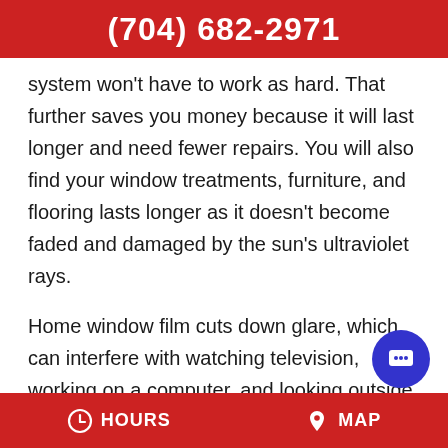(704) 682-2971
system won't have to work as hard. That further saves you money because it will last longer and need fewer repairs. You will also find your window treatments, furniture, and flooring lasts longer as it doesn't become faded and damaged by the sun's ultraviolet rays.
Home window film cuts down glare, which can interfere with watching television, working on a computer, and looking outside. We also have products that provide privacy without limiting your view of the outdoors. The nice thing a...
HOURS   MAP